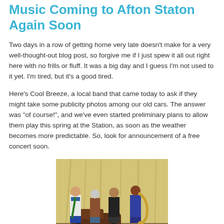Music Coming to Afton Staton Again Soon
Two days in a row of getting home very late doesn't make for a very well-thought-out blog post, so forgive me if I just spew it all out right here with no frills or fluff.  It was a big day and I guess I'm not used to it yet.  I'm tired, but it's a good tired.
Here's Cool Breeze, a local band that came today to ask if they might take some publicity photos among our old cars.  The answer was "of course!", and we've even started preliminary plans to allow them play this spring at the Station, as soon as the weather becomes more predictable.  So, look for announcement of a free concert soon.
[Figure (photo): Group photo of four band members (Cool Breeze) posing in front of an old car, one holding a saxophone and another holding a guitar, inside a building with fabric backdrop.]